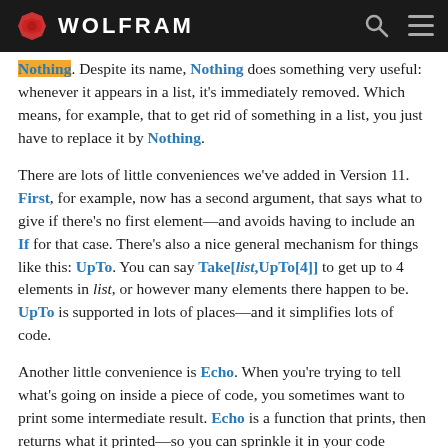WOLFRAM
Nothing. Despite its name, Nothing does something very useful: whenever it appears in a list, it's immediately removed. Which means, for example, that to get rid of something in a list, you just have to replace it by Nothing.
There are lots of little conveniences we've added in Version 11. First, for example, now has a second argument, that says what to give if there's no first element—and avoids having to include an If for that case. There's also a nice general mechanism for things like this: UpTo. You can say Take[list,UpTo[4]] to get up to 4 elements in list, or however many elements there happen to be. UpTo is supported in lots of places—and it simplifies lots of code.
Another little convenience is Echo. When you're trying to tell what's going on inside a piece of code, you sometimes want to print some intermediate result. Echo is a function that prints, then returns what it printed—so you can sprinkle it in your code without changing what the code does.